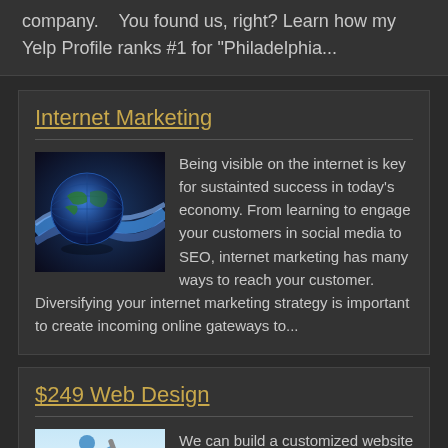company.    You found us, right? Learn how my Yelp Profile ranks #1 for "Philadelphia...
Internet Marketing
[Figure (illustration): Globe with blue swoosh wave design representing internet/global connectivity]
Being visible on the internet is key for sustainted success in today's economy. From learning to engage your customers in social media to SEO, internet marketing has many ways to reach your customer. Diversifying your internet marketing strategy is important to create incoming online gateways to...
$249 Web Design
[Figure (illustration): Figure of a person holding a paintbrush/tool, light blue background, representing web design services]
We can build a customized website